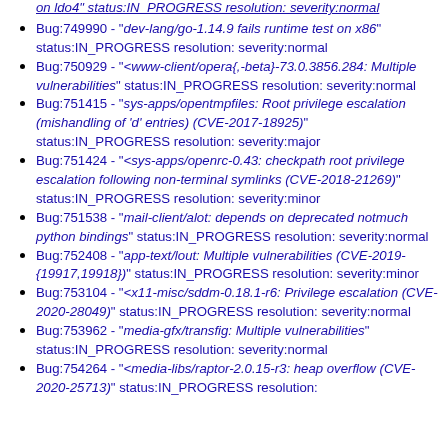Bug:749990 - "dev-lang/go-1.14.9 fails runtime test on x86" status:IN_PROGRESS resolution: severity:normal
Bug:750929 - "<www-client/opera{,-beta}-73.0.3856.284: Multiple vulnerabilities" status:IN_PROGRESS resolution: severity:normal
Bug:751415 - "sys-apps/opentmpfiles: Root privilege escalation (mishandling of 'd' entries) (CVE-2017-18925)" status:IN_PROGRESS resolution: severity:major
Bug:751424 - "<sys-apps/openrc-0.43: checkpath root privilege escalation following non-terminal symlinks (CVE-2018-21269)" status:IN_PROGRESS resolution: severity:minor
Bug:751538 - "mail-client/alot: depends on deprecated notmuch python bindings" status:IN_PROGRESS resolution: severity:normal
Bug:752408 - "app-text/lout: Multiple vulnerabilities (CVE-2019-{19917,19918})" status:IN_PROGRESS resolution: severity:minor
Bug:753104 - "<x11-misc/sddm-0.18.1-r6: Privilege escalation (CVE-2020-28049)" status:IN_PROGRESS resolution: severity:normal
Bug:753962 - "media-gfx/transfig: Multiple vulnerabilities" status:IN_PROGRESS resolution: severity:normal
Bug:754264 - "<media-libs/raptor-2.0.15-r3: heap overflow (CVE-2020-25713)" status:IN_PROGRESS resolution: